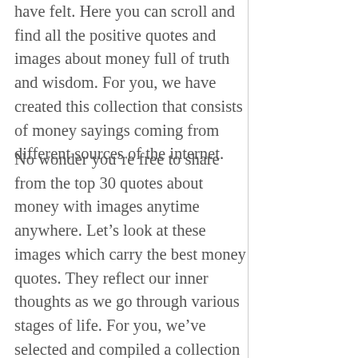have felt. Here you can scroll and find all the positive quotes and images about money full of truth and wisdom. For you, we have created this collection that consists of money sayings coming from different sources of the internet.
No wonder you’re free to share from the top 30 quotes about money with images anytime anywhere. Let’s look at these images which carry the best money quotes. They reflect our inner thoughts as we go through various stages of life. For you, we’ve selected and compiled a collection of these lovely pictures with money quotes. Choose whatever you are looking for. You may share any of these heartfelt photos with money quotes without hesitation. If you want to share these money quotes’ pictures on social media like Fb, Insta, WhatsApp, or